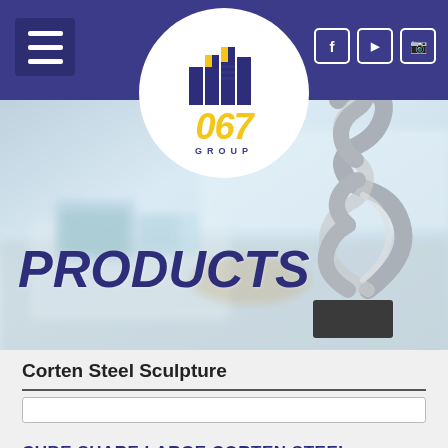067 Group — Navigation header with hamburger menu and social icons (Facebook, YouTube, Instagram)
[Figure (logo): 067 GROUP logo — circular white badge with dark blue building icons on top and yellow '067' text with 'GROUP' lettering below]
PRODUCTS
[Figure (photo): Hero banner background: blurred living room interior with light blue cushions and a metallic ribbon/curl abstract sculpture on the right side]
Corten Steel Sculpture
CUBE SHARE LARGE CORTEN STEEL